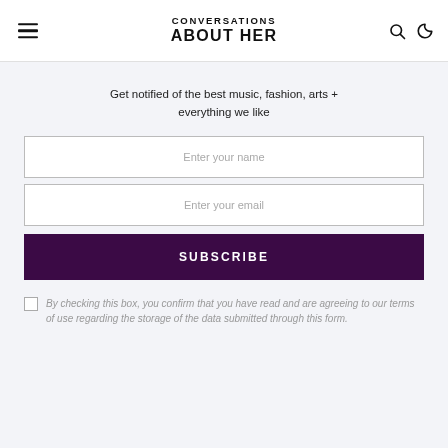CONVERSATIONS ABOUT HER
Get notified of the best music, fashion, arts + everything we like
Enter your name
Enter your email
SUBSCRIBE
By checking this box, you confirm that you have read and are agreeing to our terms of use regarding the storage of the data submitted through this form.